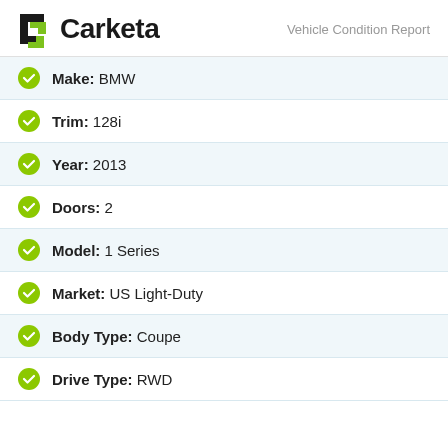Carketa — Vehicle Condition Report
Make: BMW
Trim: 128i
Year: 2013
Doors: 2
Model: 1 Series
Market: US Light-Duty
Body Type: Coupe
Drive Type: RWD